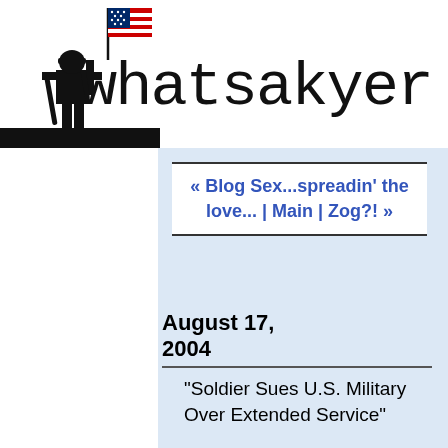[Figure (illustration): Black silhouette of a soldier holding a flag with an American flag on top, against a white background, top-left corner of the page]
whatsakyer
« Blog Sex...spreadin' the love... | Main | Zog?! »
August 17, 2004
"Soldier Sues U.S. Military Over Extended Service"